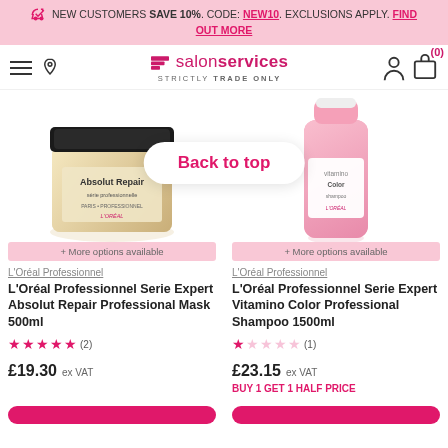NEW CUSTOMERS SAVE 10%. CODE: NEW10. EXCLUSIONS APPLY. FIND OUT MORE
salon services — STRICTLY TRADE ONLY
[Figure (photo): L'Oréal Professionnel Absolut Repair mask jar (cream/gold) on the left and Vitamino Color shampoo bottle (pink) on the right, with a 'Back to top' button overlay]
+ More options available
L'Oréal Professionnel
L'Oréal Professionnel Serie Expert Absolut Repair Professional Mask 500ml
★★★★★ (2)
£19.30 ex VAT
+ More options available
L'Oréal Professionnel
L'Oréal Professionnel Serie Expert Vitamino Color Professional Shampoo 1500ml
★☆☆☆☆ (1)
£23.15 ex VAT
BUY 1 GET 1 HALF PRICE